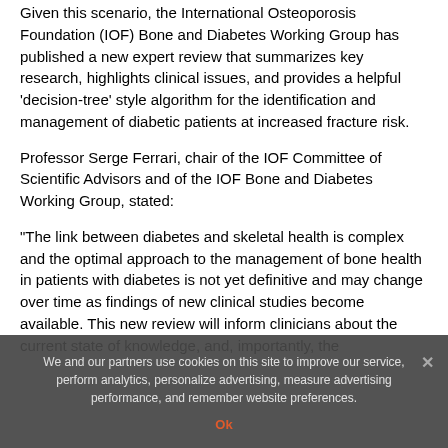Given this scenario, the International Osteoporosis Foundation (IOF) Bone and Diabetes Working Group has published a new expert review that summarizes key research, highlights clinical issues, and provides a helpful 'decision-tree' style algorithm for the identification and management of diabetic patients at increased fracture risk.
Professor Serge Ferrari, chair of the IOF Committee of Scientific Advisors and of the IOF Bone and Diabetes Working Group, stated:
“The link between diabetes and skeletal health is complex and the optimal approach to the management of bone health in patients with diabetes is not yet definitive and may change over time as findings of new clinical studies become available. This new review will inform clinicians about the current state of knowledge, and, importantly, the
We and our partners use cookies on this site to improve our service, perform analytics, personalize advertising, measure advertising performance, and remember website preferences.
Ok